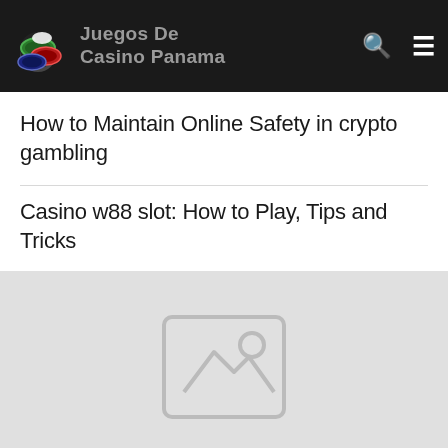Juegos De Casino Panama
How to Maintain Online Safety in crypto gambling
Casino w88 slot: How to Play, Tips and Tricks
[Figure (photo): Placeholder image with generic photo icon (mountain and sun silhouette)]